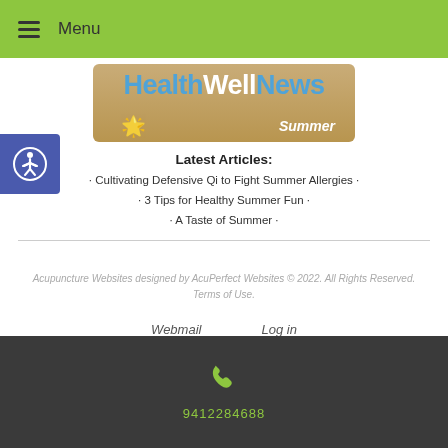Menu
[Figure (illustration): HealthWellNews Summer banner with starfish on sandy background]
Latest Articles:
• Cultivating Defensive Qi to Fight Summer Allergies •
• 3 Tips for Healthy Summer Fun •
• A Taste of Summer •
Acupuncture Websites designed by AcuPerfect Websites © 2022. All Rights Reserved. Terms of Use.
Webmail   Log in
9412284688